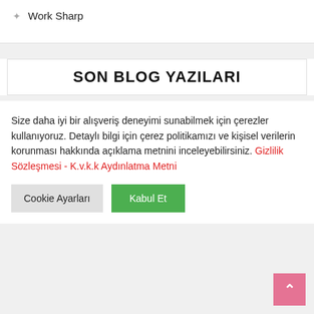Work Sharp
SON BLOG YAZILARI
Size daha iyi bir alışveriş deneyimi sunabilmek için çerezler kullanıyoruz. Detaylı bilgi için çerez politikamızı ve kişisel verilerin korunması hakkında açıklama metnini inceleyebilirsiniz. Gizlilik Sözleşmesi - K.v.k.k Aydınlatma Metni
Cookie Ayarları
Kabul Et